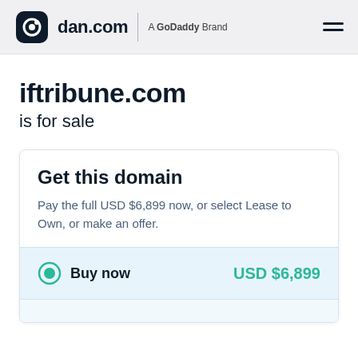dan.com — A GoDaddy Brand
iftribune.com is for sale
Get this domain
Pay the full USD $6,899 now, or select Lease to Own, or make an offer.
Buy now — USD $6,899